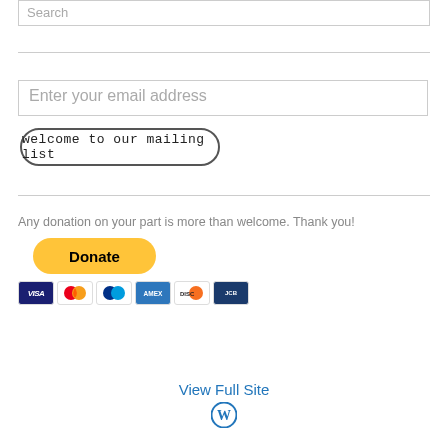Search
Enter your email address
welcome to our mailing list
Any donation on your part is more than welcome. Thank you!
[Figure (screenshot): PayPal Donate button (yellow rounded button) with payment card icons below (Visa, Mastercard, PayPal, Amex, Discover, and one more)]
View Full Site
[Figure (logo): WordPress logo (blue circle with W)]